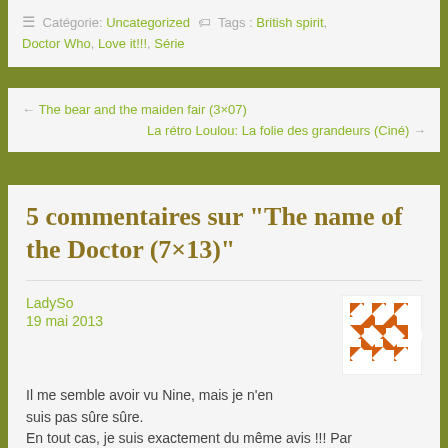≡ Catégorie: Uncategorized 🏷 Tags : British spirit, Doctor Who, Love it!!!, Série
← The bear and the maiden fair (3×07)
La rétro Loulou: La folie des grandeurs (Ciné) →
5 commentaires sur "The name of the Doctor (7×13)"
LadySo
19 mai 2013
[Figure (illustration): Orange and white geometric/mosaic square avatar icon]
Il me semble avoir vu Nine, mais je n'en suis pas sûre sûre. En tout cas, je suis exactement du même avis !!! Par contre, j'imagine plus John Hurt as Thirteen, je sais